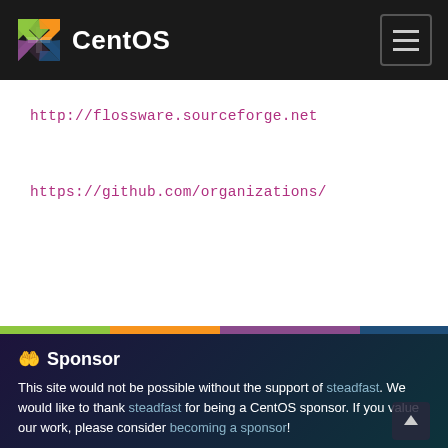CentOS
http://flossware.sourceforge.net
https://github.com/organizations/
Sponsor
This site would not be possible without the support of steadfast. We would like to thank steadfast for being a CentOS sponsor. If you value our work, please consider becoming a sponsor!